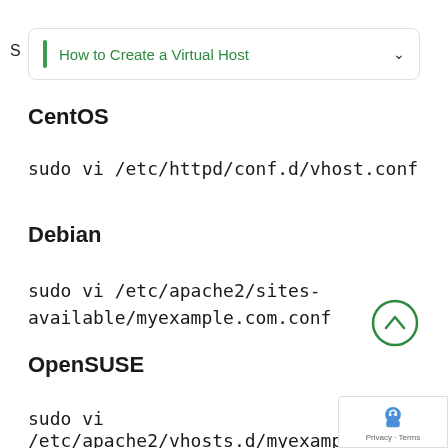S
How to Create a Virtual Host
CentOS
sudo vi /etc/httpd/conf.d/vhost.conf
Debian
sudo vi /etc/apache2/sites-available/myexample.com.conf
OpenSUSE
sudo vi /etc/apache2/vhosts.d/myexample.